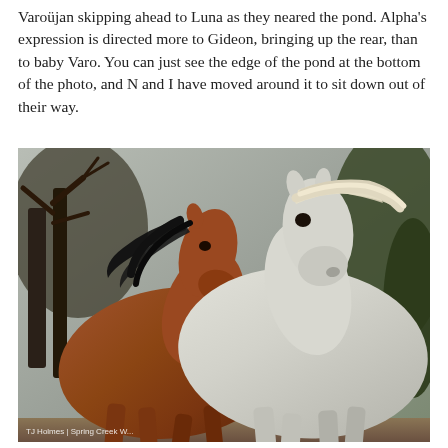Varoüjan skipping ahead to Luna as they neared the pond. Alpha's expression is directed more to Gideon, bringing up the rear, than to baby Varo. You can just see the edge of the pond at the bottom of the photo, and N and I have moved around it to sit down out of their way.
[Figure (photo): A brown foal and a white adult horse running together, their manes flying in the wind. They are in an outdoor setting with trees and brush in the background. A photo credit in the lower-left reads 'TJ Holmes | Spring Creek' something.]